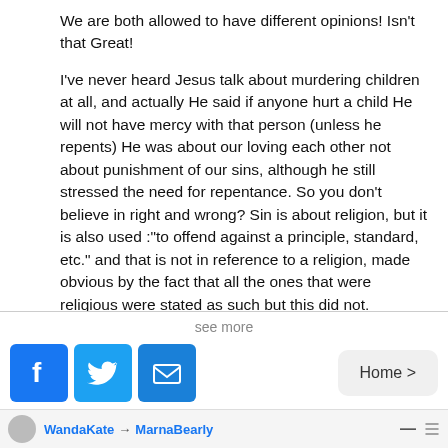We are both allowed to have different opinions! Isn't that Great!
I've never heard Jesus talk about murdering children at all, and actually He said if anyone hurt a child He will not have mercy with that person (unless he repents) He was about our loving each other not about punishment of our sins, although he still stressed the need for repentance. So you don't believe in right and wrong? Sin is about religion, but it is also used :"to offend against a principle, standard, etc." and that is not in reference to a religion, made obvious by the fact that all the ones that were religious were stated as such but this did not. Therefore you are mistaken, because when someone goes against the principles of society they are sinning. Think about the phrase "Oh isn't that a sin" when people do something wrong that affects a lot of people, like litter
see more
[Figure (other): Social share buttons: Facebook (blue), Twitter (blue), Email (blue), and Home navigation button]
WandaKate → MarnaBearly —